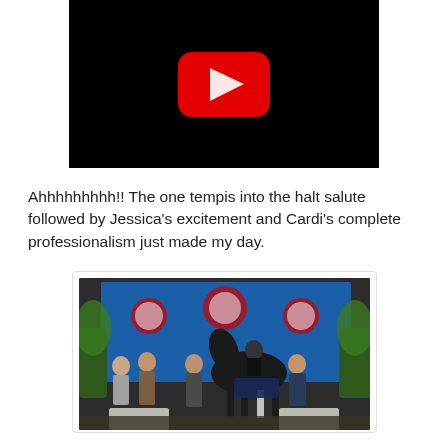[Figure (screenshot): YouTube video thumbnail with black background and red YouTube play button icon in the center]
Ahhhhhhhhh!!  The one tempis into the halt salute followed by Jessica's excitement and Cardi's complete professionalism just made my day.
[Figure (photo): Group of people standing in front of a blue equestrian event backdrop with a horse, at an indoor equestrian competition award ceremony]